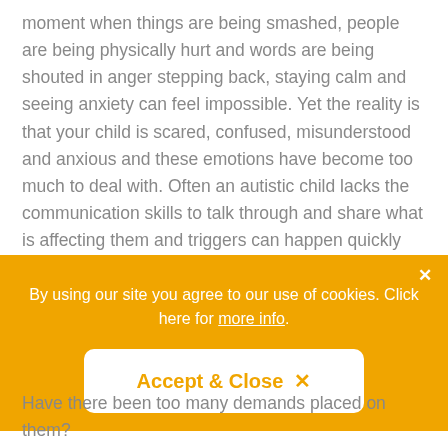moment when things are being smashed, people are being physically hurt and words are being shouted in anger stepping back, staying calm and seeing anxiety can feel impossible. Yet the reality is that your child is scared, confused, misunderstood and anxious and these emotions have become too much to deal with. Often an autistic child lacks the communication skills to talk through and share what is affecting them and triggers can happen quickly and easily.
[Figure (screenshot): Cookie consent banner with orange background. Contains text 'By using our site you agree to our use of cookies. Click here for more info.' and an 'Accept & Close x' button in white with orange text. A close (x) button is in the top right corner.]
Have there been too many demands placed on them?